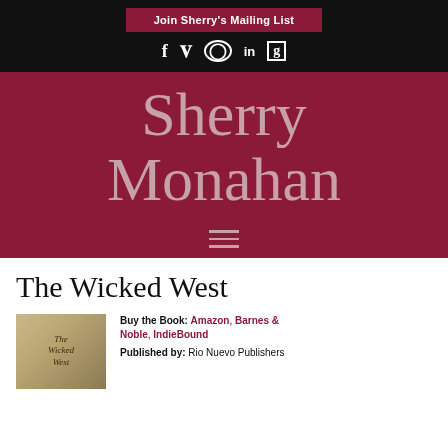Join Sherry's Mailing List
[Figure (illustration): Social media icons: Facebook, Pinterest, Instagram, LinkedIn, Goodreads]
Sherry Monahan
[Figure (illustration): Hamburger menu icon (three horizontal lines)]
The Wicked West
[Figure (photo): Book cover of The Wicked West]
Buy the Book: Amazon, Barnes & Noble, IndieBound
Published by: Rio Nuevo Publishers